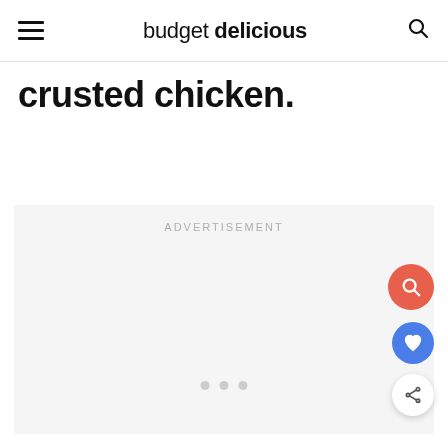budget delicious
crusted chicken.
ADVERTISEMENT
[Figure (other): Advertisement placeholder block with dots carousel indicator]